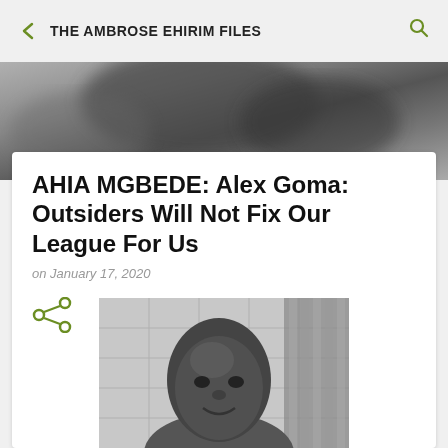THE AMBROSE EHIRIM FILES
[Figure (photo): Greyscale blurred hero/banner background image at the top of the article page]
AHIA MGBEDE: Alex Goma: Outsiders Will Not Fix Our League For Us
on January 17, 2020
[Figure (illustration): Share icon (less-than style network share symbol) in olive/green color]
[Figure (photo): Black and white photograph of a man (Alex Goma) smiling, with a striped background visible]